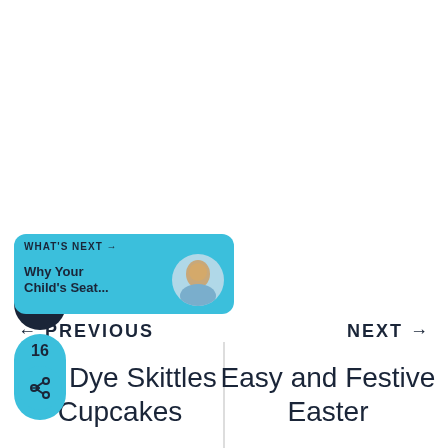[Figure (other): Dark circular heart/favorite button icon]
[Figure (other): Cyan share button with count 16]
← PREVIOUS
NEXT →
[Figure (other): What's Next banner with thumbnail: Why Your Child's Seat...]
Tie Dye Skittles Cupcakes
Easy and Festive Easter